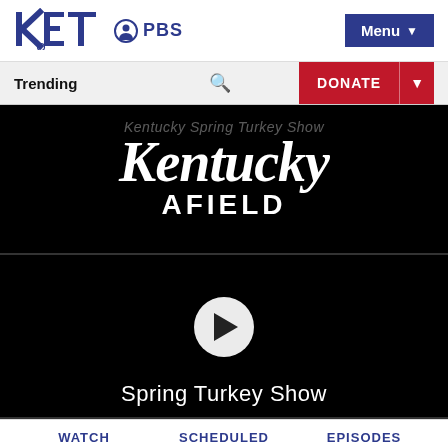[Figure (logo): KET logo in blue with PBS logo (circle with head and shoulders icon) and PBS text, plus a blue Menu button with dropdown arrow]
Trending
DONATE
[Figure (screenshot): Kentucky Afield show logo in white serif italic text on black background, with ghost text 'Kentucky Spring Turkey Show' behind it]
[Figure (screenshot): Video player on black background with white circular play button, and title text 'Spring Turkey Show' at bottom]
WATCH
SCHEDULED
EPISODES